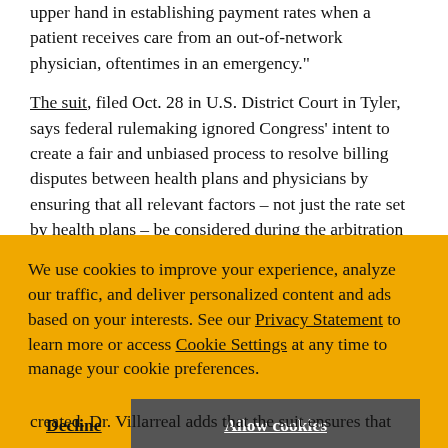upper hand in establishing payment rates when a patient receives care from an out-of-network physician, oftentimes in an emergency."

The suit, filed Oct. 28 in U.S. District Court in Tyler, says federal rulemaking ignored Congress' intent to create a fair and unbiased process to resolve billing disputes between health plans and physicians by ensuring that all relevant factors – not just the rate set by health plans – be considered during the arbitration
We use cookies to improve your experience, analyze our traffic, and deliver personalized content and ads based on your interests. See our Privacy Statement to learn more or access Cookie Settings at any time to manage your cookie preferences.
created. Dr. Villarreal adds that the suit ensures that